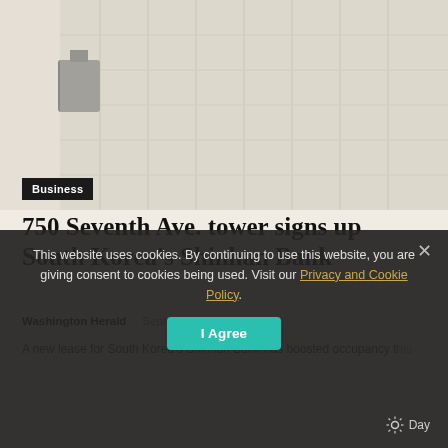[Figure (photo): Architectural photo of a glass office tower building exterior with geometric grid pattern, muted beige/grey tones]
Business
750 Seventh Ave. tower signs up South Korea's Shinhan Bank
Washington Herald · September 5, 2022
A new lease for South Korea's Shinhan Bank has boosted occupancy t... w...
This website uses cookies. By continuing to use this website, you are giving consent to cookies being used. Visit our Privacy and Cookie Policy.
I Agree
Day